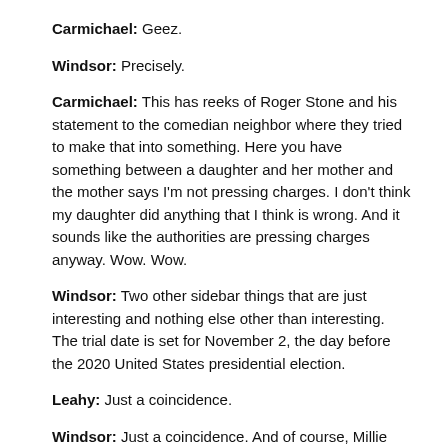Carmichael: Geez.
Windsor: Precisely.
Carmichael: This has reeks of Roger Stone and his statement to the comedian neighbor where they tried to make that into something. Here you have something between a daughter and her mother and the mother says I'm not pressing charges. I don't think my daughter did anything that I think is wrong. And it sounds like the authorities are pressing charges anyway. Wow. Wow.
Windsor: Two other sidebar things that are just interesting and nothing else other than interesting. The trial date is set for November 2, the day before the 2020 United States presidential election.
Leahy: Just a coincidence.
Windsor: Just a coincidence. And of course, Millie has